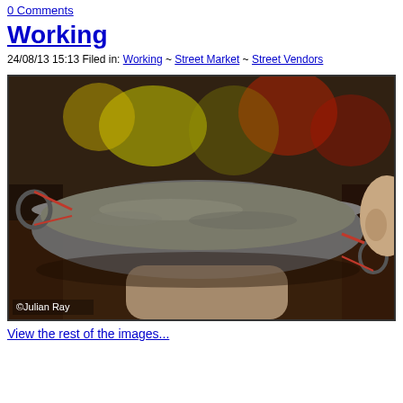0 Comments
Working
24/08/13 15:13 Filed in: Working ~ Street Market ~ Street Vendors
[Figure (photo): A worker carrying a large metal pan filled with sand or cement powder on their head, with colorful blurred background. Watermark: ©Julian Ray]
View the rest of the images...